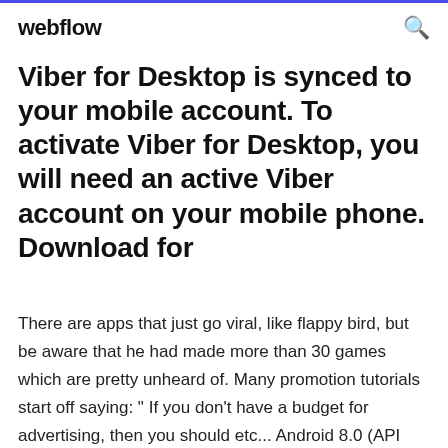webflow
Viber for Desktop is synced to your mobile account. To activate Viber for Desktop, you will need an active Viber account on your mobile phone. Download for
There are apps that just go viral, like flappy bird, but be aware that he had made more than 30 games which are pretty unheard of. Many promotion tutorials start off saying: " If you don't have a budget for advertising, then you should etc... Android 8.0 (API level 26) lets you download fonts instead of bundling them in your APK. Wacom provides interactive pen